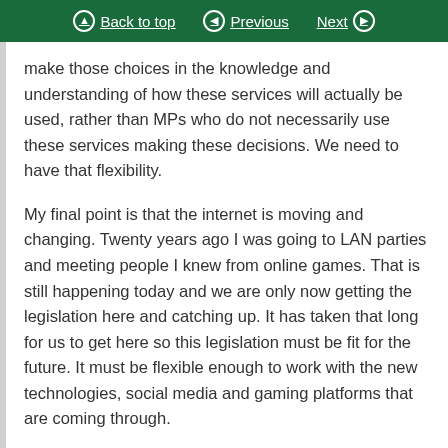Back to top | Previous | Next
make those choices in the knowledge and understanding of how these services will actually be used, rather than MPs who do not necessarily use these services making these decisions. We need to have that flexibility.
My final point is that the internet is moving and changing. Twenty years ago I was going to LAN parties and meeting people I knew from online games. That is still happening today and we are only now getting the legislation here and catching up. It has taken that long for us to get here so this legislation must be fit for the future. It must be flexible enough to work with the new technologies, social media and gaming platforms that are coming through.